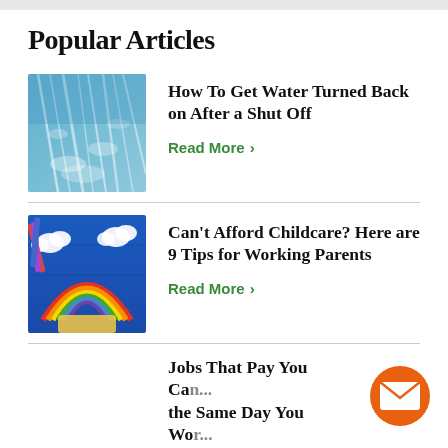Popular Articles
How To Get Water Turned Back on After a Shut Off
Read More
Can't Afford Childcare? Here are 9 Tips for Working Parents
Read More
Jobs That Pay You Ca... the Same Day You Wor...